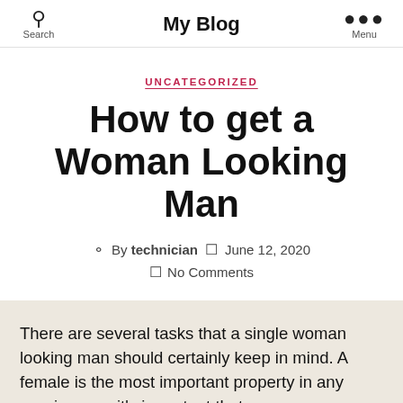My Blog
UNCATEGORIZED
How to get a Woman Looking Man
By technician   June 12, 2020   No Comments
There are several tasks that a single woman looking man should certainly keep in mind. A female is the most important property in any marriage, so it's important that